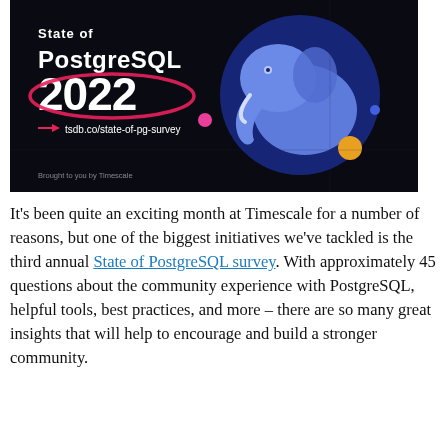[Figure (illustration): State of PostgreSQL 2022 survey banner on a dark/black background. Large bold white text reads 'State of PostgreSQL 2022' with '2022' in very large stylized numbers enclosed in a red/pink ellipse. An arrow pointing right followed by 'tsdb.co/state-of-pg-survey' appears below. A glowing blue elephant graphic appears on the right side against a deep blue circle. Colorful dots (pink, blue, yellow/orange) are scattered. Small text at bottom left reads 'Brought to you by Timescale'.]
It's been quite an exciting month at Timescale for a number of reasons, but one of the biggest initiatives we've tackled is the third annual State of PostgreSQL survey. With approximately 45 questions about the community experience with PostgreSQL, helpful tools, best practices, and more – there are so many great insights that will help to encourage and build a stronger community.